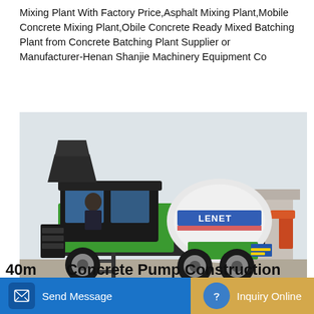Mixing Plant With Factory Price,Asphalt Mixing Plant,Mobile Concrete Mixing Plant,Obile Concrete Ready Mixed Batching Plant from Concrete Batching Plant Supplier or Manufacturer-Henan Shanjie Machinery Equipment Co
Learn More
[Figure (photo): A green self-loading concrete mixer truck (branded LENET) photographed outdoors. A worker is visible in the open cab. The truck has a large white rotating drum and heavy-duty tires.]
40m Concrete Pump Construction
Send Message
Inquiry Online